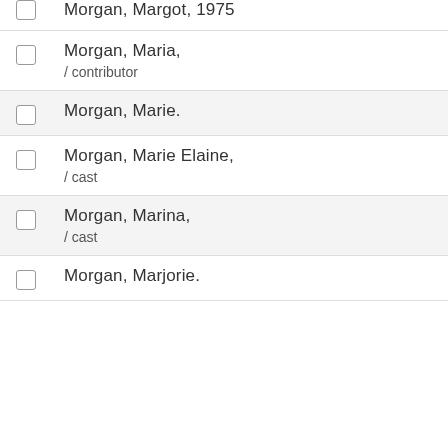Morgan, Margot, 1975
Morgan, Maria, / contributor
Morgan, Marie.
Morgan, Marie Elaine, / cast
Morgan, Marina, / cast
Morgan, Marjorie.